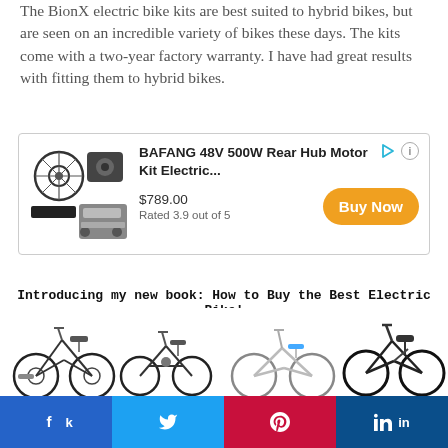The BionX electric bike kits are best suited to hybrid bikes, but are seen on an incredible variety of bikes these days. The kits come with a two-year factory warranty. I have had great results with fitting them to hybrid bikes.
[Figure (infographic): Advertisement box for BAFANG 48V 500W Rear Hub Motor Kit Electric... priced at $789.00, Rated 3.9 out of 5, with a Buy Now button and product image showing a bike wheel and battery kit.]
Introducing my new book: How to Buy the Best Electric Bike!
[Figure (photo): Strip of four electric bikes: a city hybrid e-bike, a folding e-bike, a white step-through e-bike, and a full-suspension e-mountain bike.]
[Figure (infographic): Social share buttons row: Facebook (blue), Twitter (light blue), Pinterest (red), LinkedIn (dark blue).]